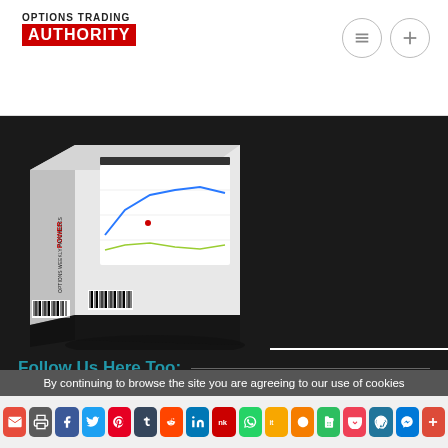OPTIONS TRADING AUTHORITY
[Figure (photo): 3D product box for 'Options Weekly Paychecks - Explosive Swing Strategy' showing a line chart on the cover, displayed on a dark background]
Follow Us Here Too:
[Figure (infographic): Row of social media icons: Facebook, Twitter, Pinterest, Flickr, LinkedIn, Medium, Tumblr, YouTube, RSS]
By continuing to browse the site you are agreeing to our use of cookies
[Figure (infographic): Bottom share bar with social media icons: email, print, Facebook, Twitter, Pinterest, Tumblr, Reddit, LinkedIn, NK, WhatsApp, IT, Blogger, Evernote, Pocket, WordPress, Messenger, Plus]